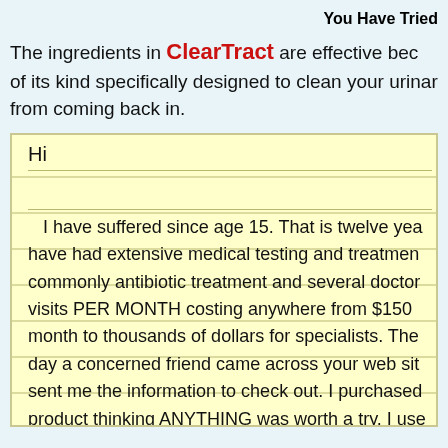You Have Tried
The ingredients in ClearTract are effective because of its kind specifically designed to clean your urinary tract from coming back in.
Hi

I have suffered since age 15. That is twelve years. I have had extensive medical testing and treatment, commonly antibiotic treatment and several doctor visits PER MONTH costing anywhere from $150 a month to thousands of dollars for specialists. The day a concerned friend came across your web site and sent me the information to check out. I purchased the product thinking ANYTHING was worth a try. I used it the first time I got a after purchasing it (3 days later) and I have been free and clear ever since, nearly months! I have not been free from this pain longer then a twenty-four period since about age 20. It was a miracle!! I really thought that it would be like every...